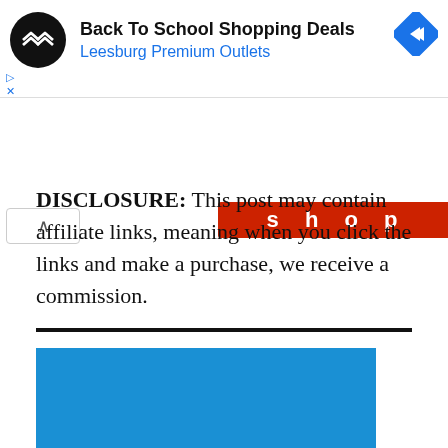[Figure (screenshot): Ad banner for Back To School Shopping Deals at Leesburg Premium Outlets with circular logo and blue diamond icon]
[Figure (screenshot): Partial red SHOP banner visible at top right, and up-arrow navigation button]
DISCLOSURE: This post may contain affiliate links, meaning when you click the links and make a purchase, we receive a commission.
[Figure (photo): Blue rectangular image block at bottom of page]